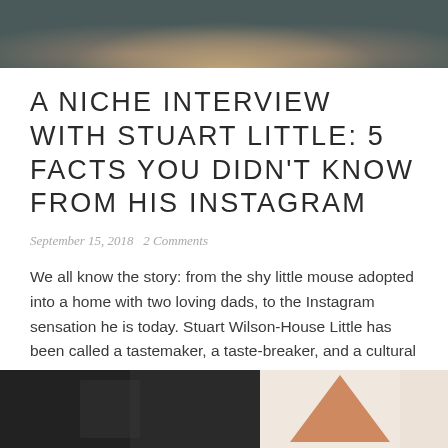[Figure (photo): Top banner image showing a figure with dark and muted tones, partially cropped]
A NICHE INTERVIEW WITH STUART LITTLE: 5 FACTS YOU DIDN'T KNOW FROM HIS INSTAGRAM
September 15, 2018   2 Comments
We all know the story: from the shy little mouse adopted into a home with two loving dads, to the Instagram sensation he is today. Stuart Wilson-House Little has been called a tastemaker, a taste-breaker, and a cultural icon. And he turned down an interview with an unnamed fashion icon (who either is or is . . . Continue reading
[Figure (photo): Bottom strip showing two images side by side: left is a dark photograph, right shows a triangular copper/bronze object on white background]